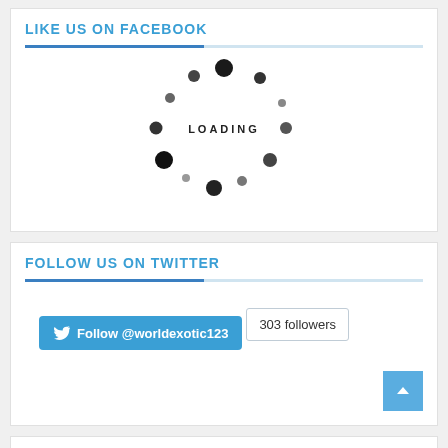LIKE US ON FACEBOOK
[Figure (other): Loading spinner animation with dots arranged in a circle and 'LOADING' text in the center]
FOLLOW US ON TWITTER
Follow @worldexotic123   303 followers
CATEGORIES